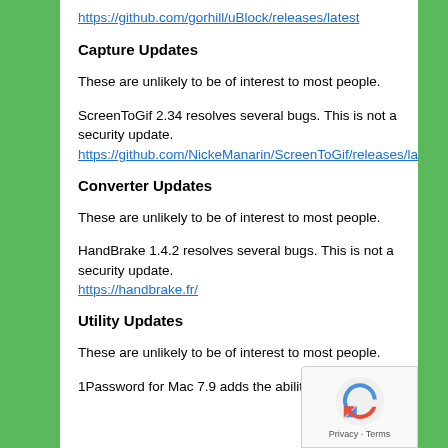https://github.com/gorhill/uBlock/releases/latest
Capture Updates
These are unlikely to be of interest to most people.
ScreenToGif 2.34 resolves several bugs. This is not a security update.
https://github.com/NickeManarin/ScreenToGif/releases/latest
Converter Updates
These are unlikely to be of interest to most people.
HandBrake 1.4.2 resolves several bugs. This is not a security update.
https://handbrake.fr/
Utility Updates
These are unlikely to be of interest to most people.
1Password for Mac 7.9 adds the ability to “securely”